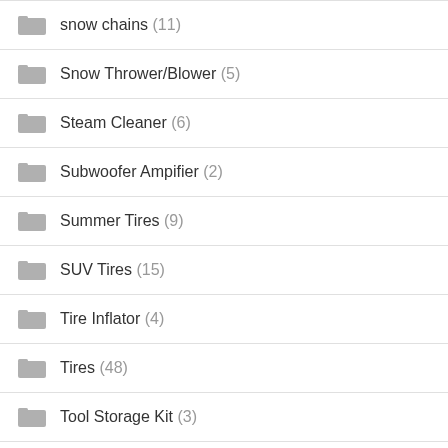snow chains (11)
Snow Thrower/Blower (5)
Steam Cleaner (6)
Subwoofer Ampifier (2)
Summer Tires (9)
SUV Tires (15)
Tire Inflator (4)
Tires (48)
Tool Storage Kit (3)